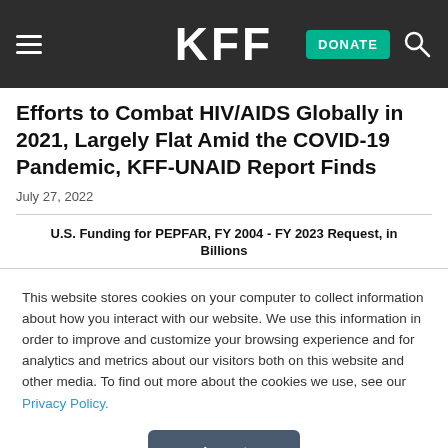KFF | DONATE
Efforts to Combat HIV/AIDS Globally in 2021, Largely Flat Amid the COVID-19 Pandemic, KFF-UNAID Report Finds
July 27, 2022
U.S. Funding for PEPFAR, FY 2004 - FY 2023 Request, in Billions
This website stores cookies on your computer to collect information about how you interact with our website. We use this information in order to improve and customize your browsing experience and for analytics and metrics about our visitors both on this website and other media. To find out more about the cookies we use, see our Privacy Policy.